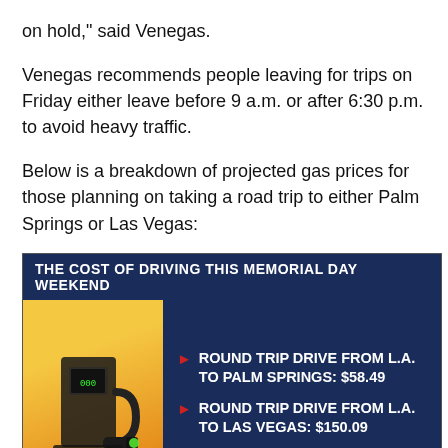on hold," said Venegas.
Venegas recommends people leaving for trips on Friday either leave before 9 a.m. or after 6:30 p.m. to avoid heavy traffic.
Below is a breakdown of projected gas prices for those planning on taking a road trip to either Palm Springs or Las Vegas:
[Figure (infographic): TV news graphic titled 'THE COST OF DRIVING THIS MEMORIAL DAY WEEKEND' showing a gas pump image on the left and two bullet points: Round Trip Drive From L.A. to Palm Springs: $58.49 and Round Trip Drive From L.A. to Las Vegas: $150.09]